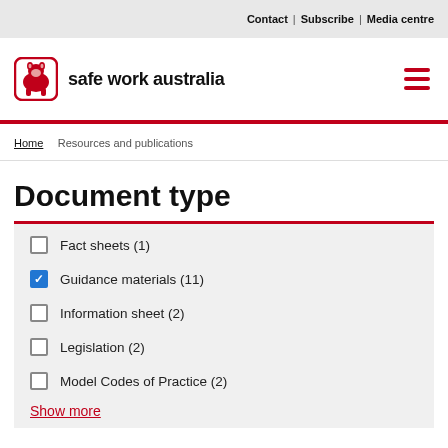Contact | Subscribe | Media centre
[Figure (logo): Safe Work Australia logo with wombat icon and text 'safe work australia']
Home > Resources and publications
Document type
Fact sheets (1)
Guidance materials (11)
Information sheet (2)
Legislation (2)
Model Codes of Practice (2)
Show more